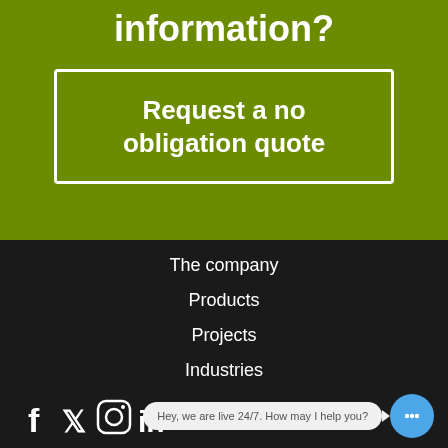information?
Request a no obligation quote
The company
Products
Projects
Industries
Hey, we are live 24/7. How may I help you?